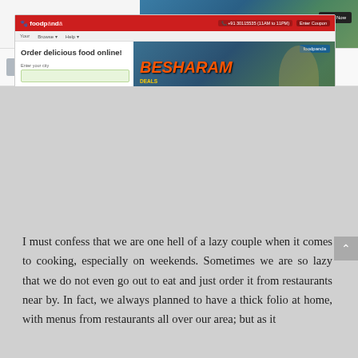[Figure (screenshot): Foodpanda website screenshot showing 'Order delicious food online!' with a Besharam movie advertisement banner]
I must confess that we are one hell of a lazy couple when it comes to cooking, especially on weekends. Sometimes we are so lazy that we do not even go out to eat and just order it from restaurants near by. In fact, we always planned to have a thick folio at home, with menus from restaurants all over our area; but as it